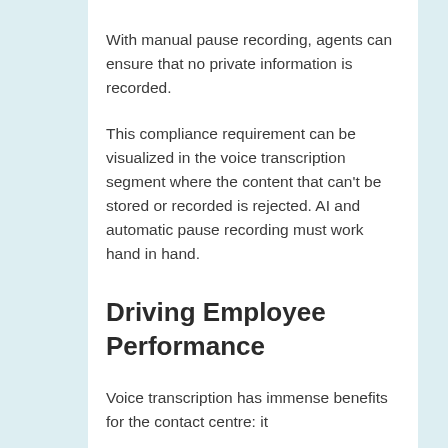With manual pause recording, agents can ensure that no private information is recorded.
This compliance requirement can be visualized in the voice transcription segment where the content that can't be stored or recorded is rejected. AI and automatic pause recording must work hand in hand.
Driving Employee Performance
Voice transcription has immense benefits for the contact centre: it